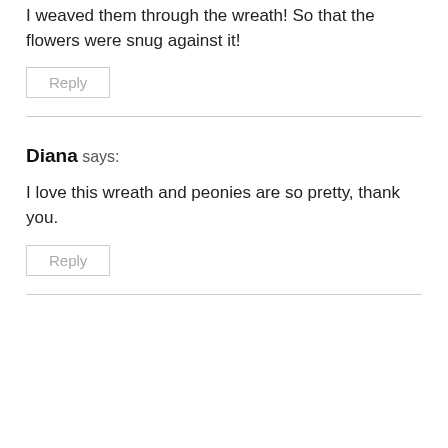I weaved them through the wreath! So that the flowers were snug against it!
Reply
Diana says:
I love this wreath and peonies are so pretty, thank you.
Reply